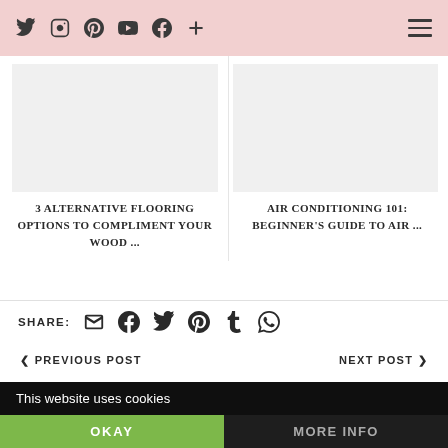Social media icons: Twitter, Instagram, Pinterest, YouTube, Facebook, Plus | Hamburger menu
[Figure (screenshot): Website screenshot showing two article thumbnails side by side (image placeholders) and article titles below them]
3 ALTERNATIVE FLOORING OPTIONS TO COMPLIMENT YOUR WOOD ...
AIR CONDITIONING 101: BEGINNER'S GUIDE TO AIR ...
SHARE: [email icon] [facebook icon] [twitter icon] [pinterest icon] [tumblr icon] [whatsapp icon]
< PREVIOUS POST    NEXT POST >
This website uses cookies
OKAY    MORE INFO